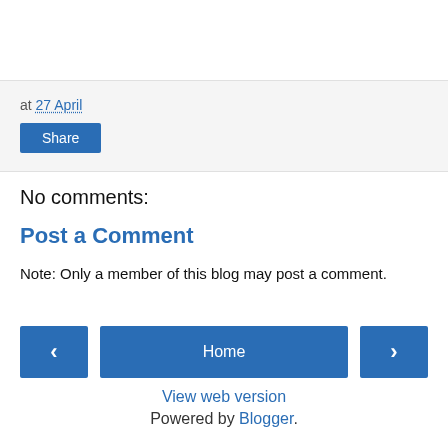at 27 April
Share
No comments:
Post a Comment
Note: Only a member of this blog may post a comment.
< Home >
View web version
Powered by Blogger.